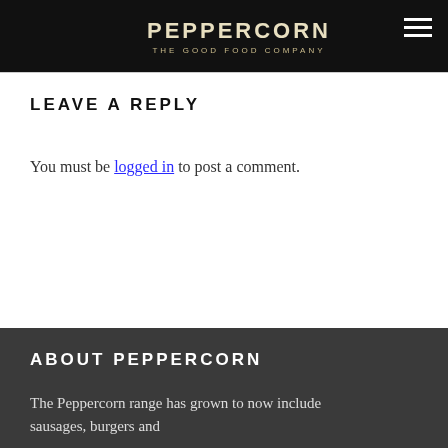PEPPERCORN — The Good Food Company
LEAVE A REPLY
You must be logged in to post a comment.
ABOUT PEPPERCORN
The Peppercorn range has grown to now include sausages, burgers and